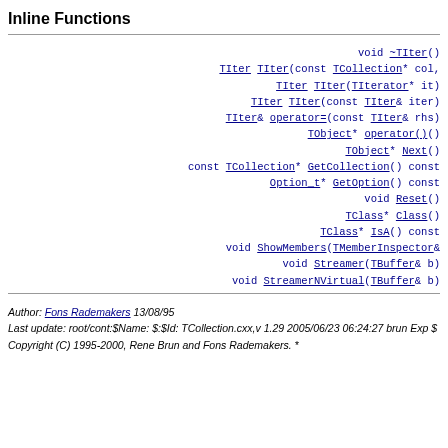Inline Functions
void ~TIter()
TIter TIter(const TCollection* col,
TIter TIter(TIterator* it)
TIter TIter(const TIter& iter)
TIter& operator=(const TIter& rhs)
TObject* operator()()
TObject* Next()
const TCollection* GetCollection() const
Option_t* GetOption() const
void Reset()
TClass* Class()
TClass* IsA() const
void ShowMembers(TMemberInspector&
void Streamer(TBuffer& b)
void StreamerNVirtual(TBuffer& b)
Author: Fons Rademakers 13/08/95
Last update: root/cont:$Name: $:$Id: TCollection.cxx,v 1.29 2005/06/23 06:24:27 brun Exp $
Copyright (C) 1995-2000, Rene Brun and Fons Rademakers. *